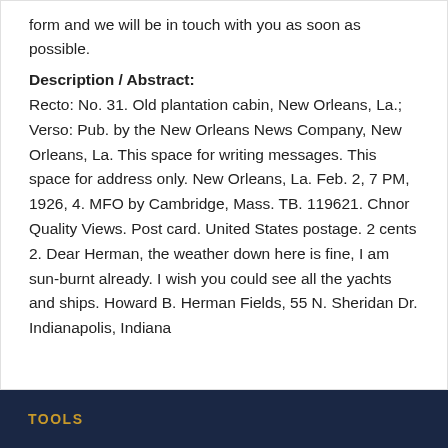form and we will be in touch with you as soon as possible.
Description / Abstract:
Recto: No. 31. Old plantation cabin, New Orleans, La.; Verso: Pub. by the New Orleans News Company, New Orleans, La. This space for writing messages. This space for address only. New Orleans, La. Feb. 2, 7 PM, 1926, 4. MFO by Cambridge, Mass. TB. 119621. Chnor Quality Views. Post card. United States postage. 2 cents 2. Dear Herman, the weather down here is fine, I am sun-burnt already. I wish you could see all the yachts and ships. Howard B. Herman Fields, 55 N. Sheridan Dr. Indianapolis, Indiana
TOOLS